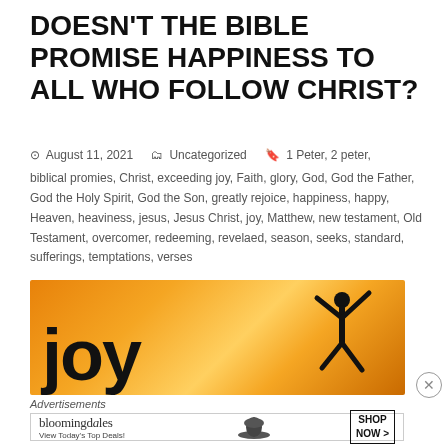DOESN'T THE BIBLE PROMISE HAPPINESS TO ALL WHO FOLLOW CHRIST?
August 11, 2021   Uncategorized   1 Peter, 2 peter, biblical promies, Christ, exceeding joy, Faith, glory, God, God the Father, God the Holy Spirit, God the Son, greatly rejoice, happiness, happy, Heaven, heaviness, jesus, Jesus Christ, joy, Matthew, new testament, Old Testament, overcomer, redeeming, revelaed, season, seeks, standard, sufferings, temptations, verses
[Figure (photo): Orange/golden background image with large black 'joy' text and silhouette of a jumping person with arms raised]
Advertisements
[Figure (other): Bloomingdale's advertisement banner with logo, 'View Today's Top Deals!', woman with hat, and 'SHOP NOW >' button]